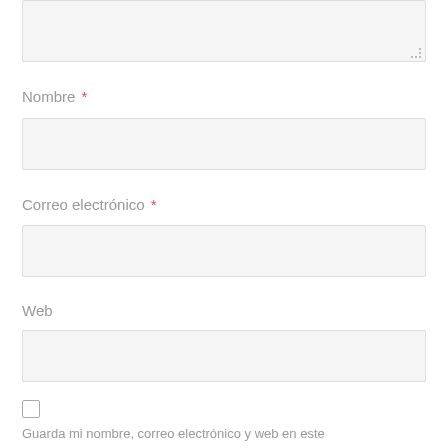[Figure (screenshot): Textarea form field (empty, light gray background, resize handle at bottom-right)]
Nombre *
[Figure (screenshot): Text input field for Nombre (empty, light gray background)]
Correo electrónico *
[Figure (screenshot): Text input field for Correo electrónico (empty, light gray background)]
Web
[Figure (screenshot): Text input field for Web (empty, light gray background)]
[Figure (screenshot): Checkbox (unchecked)]
Guarda mi nombre, correo electrónico y web en este